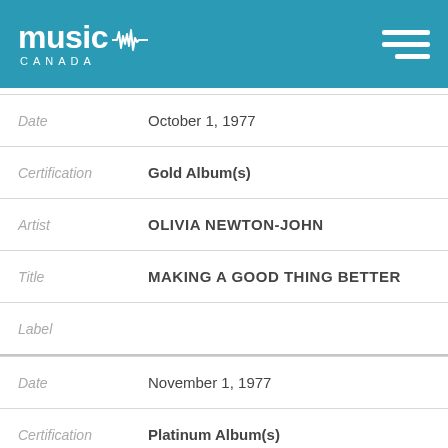Music Canada
Date: October 1, 1977
Certification: Gold Album(s)
Artist: OLIVIA NEWTON-JOHN
Title: MAKING A GOOD THING BETTER
Label:
Date: November 1, 1977
Certification: Platinum Album(s)
Artist: OLIVIA NEWTON-JOHN
Title: LET ME BE THERE